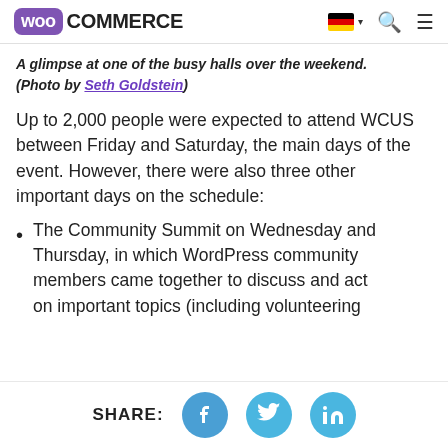WooCommerce [logo] [German flag] [search] [menu]
A glimpse at one of the busy halls over the weekend. (Photo by Seth Goldstein)
Up to 2,000 people were expected to attend WCUS between Friday and Saturday, the main days of the event. However, there were also three other important days on the schedule:
The Community Summit on Wednesday and Thursday, in which WordPress community members came together to discuss and act on important topics (including volunteering
SHARE: [Facebook] [Twitter] [LinkedIn]